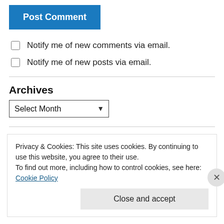Post Comment
Notify me of new comments via email.
Notify me of new posts via email.
Archives
Select Month
Privacy & Cookies: This site uses cookies. By continuing to use this website, you agree to their use. To find out more, including how to control cookies, see here: Cookie Policy
Close and accept